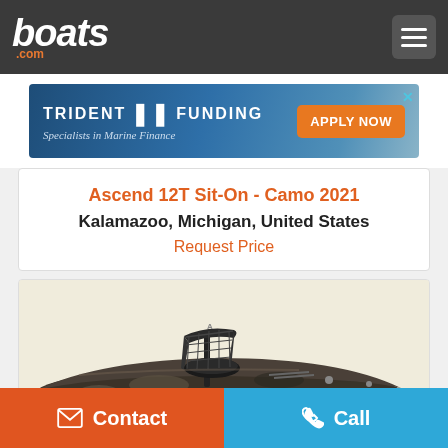boats.com
[Figure (other): Trident Funding advertisement banner: Specialists in Marine Finance, with Apply Now button and a boat background image]
Ascend 12T Sit-On - Camo 2021
Kalamazoo, Michigan, United States
Request Price
[Figure (photo): Photo of an Ascend 12T Sit-On kayak in camo color, showing a black elevated seat, viewed from the side at an angle against a white background]
Contact
Call